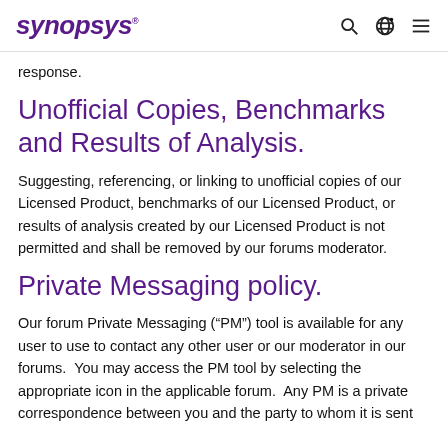SYNOPSYS
response.
Unofficial Copies, Benchmarks and Results of Analysis.
Suggesting, referencing, or linking to unofficial copies of our Licensed Product, benchmarks of our Licensed Product, or results of analysis created by our Licensed Product is not permitted and shall be removed by our forums moderator.
Private Messaging policy.
Our forum Private Messaging (“PM”) tool is available for any user to use to contact any other user or our moderator in our forums.  You may access the PM tool by selecting the appropriate icon in the applicable forum.  Any PM is a private correspondence between you and the party to whom it is sent